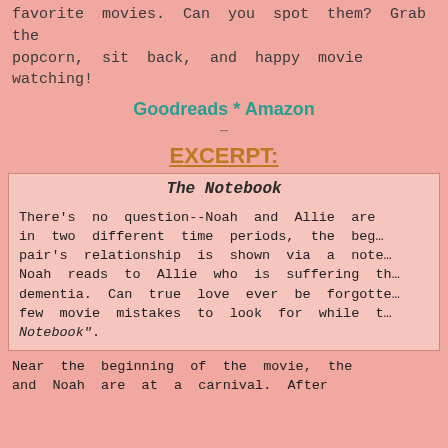favorite movies. Can you spot them? Grab the popcorn, sit back, and happy movie watching!
Goodreads * Amazon
---
EXCERPT:
The Notebook
There's no question--Noah and Allie are in two different time periods, the beg... pair's relationship is shown via a note... Noah reads to Allie who is suffering th... dementia. Can true love ever be forgotte... few movie mistakes to look for while t... Notebook".
Near the beginning of the movie, the ... and Noah are at a carnival. After